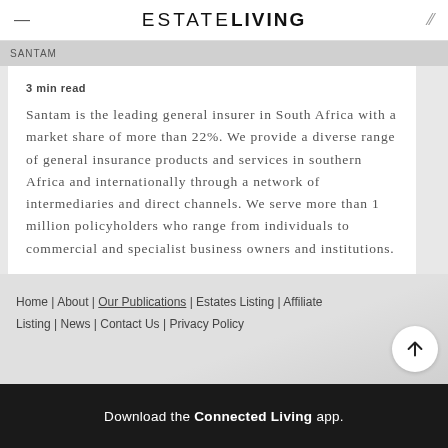ESTATE LIVING
Santam
3 min read
Santam is the leading general insurer in South Africa with a market share of more than 22%. We provide a diverse range of general insurance products and services in southern Africa and internationally through a network of intermediaries and direct channels. We serve more than 1 million policyholders who range from individuals to commercial and specialist business owners and institutions.
Home | About | Our Publications | Estates Listing | Affiliate Listing | News | Contact Us | Privacy Policy
Download the Connected Living app.